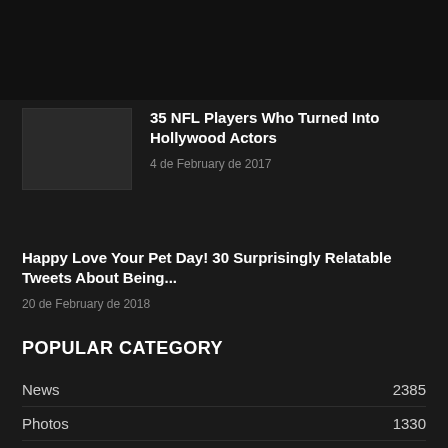[Figure (photo): Thumbnail image placeholder for NFL article, dark background with faint figures]
35 NFL Players Who Turned Into Hollywood Actors
4 de February de 2017
Happy Love Your Pet Day! 30 Surprisingly Relatable Tweets About Being...
20 de February de 2018
POPULAR CATEGORY
News  2385
Photos  1330
Viral  380
Fashion  234
Humor  188